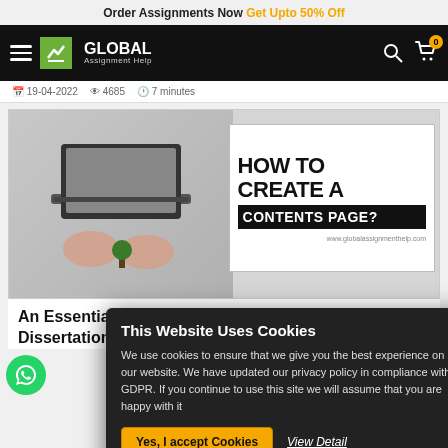Order Assignments Now Get Upto 50% Off
[Figure (logo): Global Assignment Help logo with green icon and white text on black navbar]
19-04-2022  4685  7 minutes
[Figure (photo): Banner image showing hands typing on a laptop with text HOW TO CREATE A CONTENTS PAGE? and www.globalassignmenthelp.com]
An Essential Guide to Creating the Perfect Dissertation Conte...
This Website Uses Cookies
We use cookies to ensure that we give you the best experience on our website. We have updated our privacy policy in compliance with GDPR. If you continue to use this site we will assume that you are happy with it
Yes, I accept Cookies  View Detail